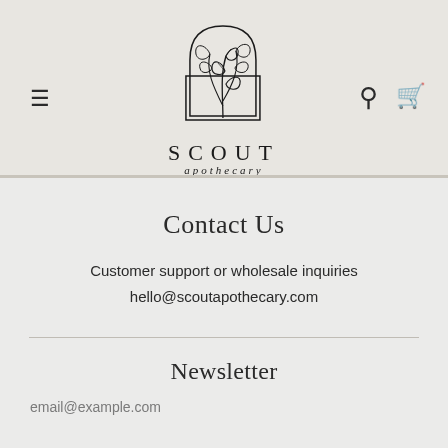[Figure (logo): Scout Apothecary logo: botanical leaf illustration inside an arch/rectangle outline, with text 'SCOUT' in large spaced letters and 'apothecary' in small italic below]
Contact Us
Customer support or wholesale inquiries
hello@scoutapothecary.com
Newsletter
email@example.com